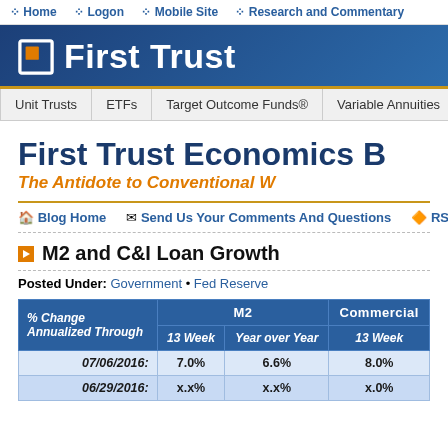Home | Logon | Mobile Site | Research and Commentary
[Figure (logo): First Trust logo with orange square bracket icon on blue banner background]
Unit Trusts | ETFs | Target Outcome Funds® | Variable Annuities | Clo...
First Trust Economics B[log]
The Antidote to Conventional W[isdom]
Blog Home | Send Us Your Comments And Questions | RS[S]
M2 and C&I Loan Growth
Posted Under: Government • Fed Reserve
| % Change Annualized Through | M2 13 Week | M2 Year over Year | Commercial 13 Week |
| --- | --- | --- | --- |
| 07/06/2016: | 7.0% | 6.6% | 8.0% |
| 06/29/2016: | x.x% | x.x% | x.0% |